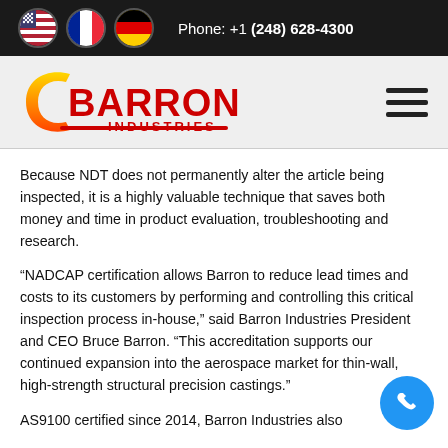Phone: +1 (248) 628-4300
[Figure (logo): Barron Industries logo with red text and yellow/red swoosh graphic]
Because NDT does not permanently alter the article being inspected, it is a highly valuable technique that saves both money and time in product evaluation, troubleshooting and research.
“NADCAP certification allows Barron to reduce lead times and costs to its customers by performing and controlling this critical inspection process in-house,” said Barron Industries President and CEO Bruce Barron. “This accreditation supports our continued expansion into the aerospace market for thin-wall, high-strength structural precision castings.”
AS9100 certified since 2014, Barron Industries also